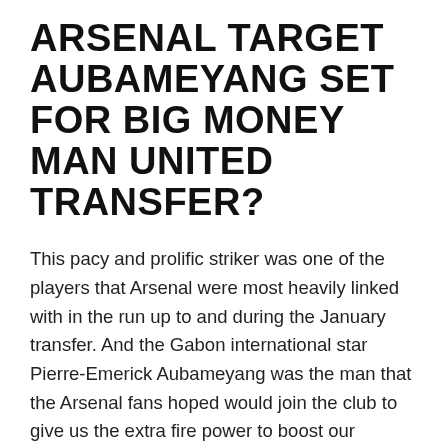ARSENAL TARGET AUBAMEYANG SET FOR BIG MONEY MAN UNITED TRANSFER?
This pacy and prolific striker was one of the players that Arsenal were most heavily linked with in the run up to and during the January transfer. And the Gabon international star Pierre-Emerick Aubameyang was the man that the Arsenal fans hoped would join the club to give us the extra fire power to boost our challenge for the Premier League title.
Instead the player stayed with his current club Borussia Dortmund in the Bundesliga where they